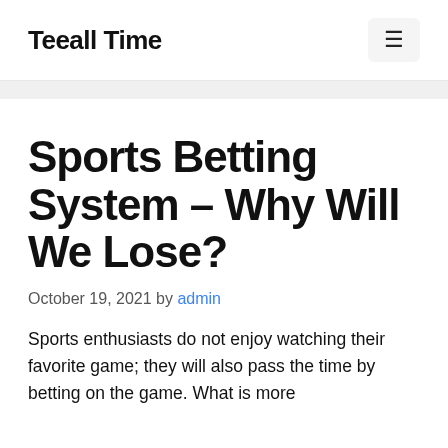Teeall Time
Sports Betting System – Why Will We Lose?
October 19, 2021 by admin
Sports enthusiasts do not enjoy watching their favorite game; they will also pass the time by betting on the game. What is more